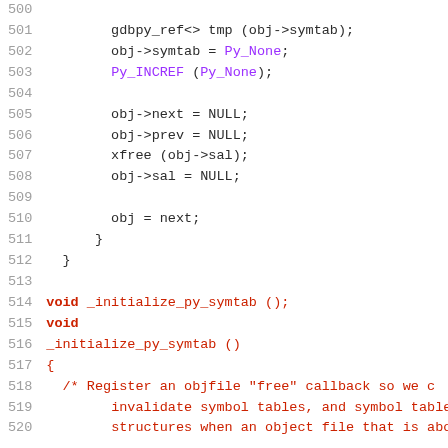[Figure (screenshot): Source code listing lines 500-520 in C/C++ style with line numbers on the left and syntax-highlighted code on the right. Purple highlights for Py_None and Py_INCREF, red for void/_initialize_py_symtab/comment text, dark for regular code.]